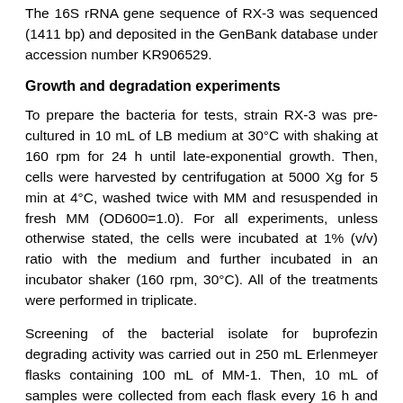The 16S rRNA gene sequence of RX-3 was sequenced (1411 bp) and deposited in the GenBank database under accession number KR906529.
Growth and degradation experiments
To prepare the bacteria for tests, strain RX-3 was pre-cultured in 10 mL of LB medium at 30°C with shaking at 160 rpm for 24 h until late-exponential growth. Then, cells were harvested by centrifugation at 5000 Xg for 5 min at 4°C, washed twice with MM and resuspended in fresh MM (OD600=1.0). For all experiments, unless otherwise stated, the cells were incubated at 1% (v/v) ratio with the medium and further incubated in an incubator shaker (160 rpm, 30°C). All of the treatments were performed in triplicate.
Screening of the bacterial isolate for buprofezin degrading activity was carried out in 250 mL Erlenmeyer flasks containing 100 mL of MM-1. Then, 10 mL of samples were collected from each flask every 16 h and buprofezin was